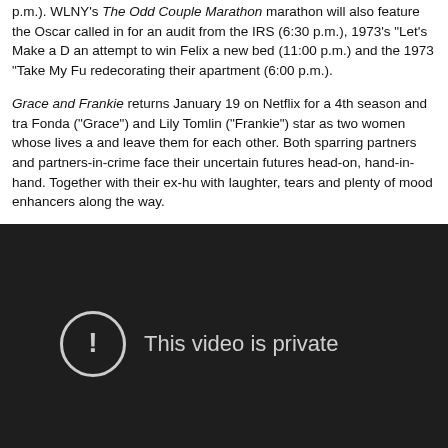p.m.). WLNY's The Odd Couple Marathon marathon will also feature the Oscar called in for an audit from the IRS (6:30 p.m.), 1973's "Let's Make a D an attempt to win Felix a new bed (11:00 p.m.) and the 1973 "Take My Fu redecorating their apartment (6:00 p.m.).
Grace and Frankie returns January 19 on Netflix for a 4th season and tra Fonda ("Grace") and Lily Tomlin ("Frankie") star as two women whose lives a and leave them for each other. Both sparring partners and partners-in-crime face their uncertain futures head-on, hand-in-hand. Together with their ex-hu with laughter, tears and plenty of mood enhancers along the way.
[Figure (screenshot): Dark video player showing 'This video is private' message with an exclamation mark icon in a circle on a dark/black background.]